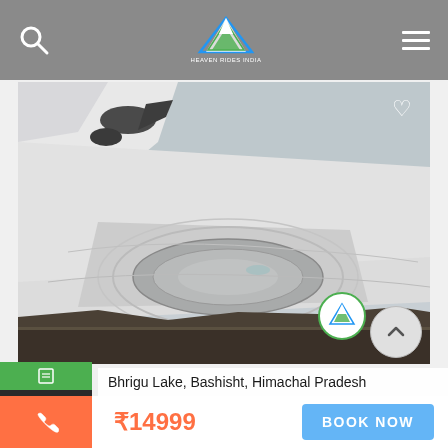Heaven Rides India — navigation bar with search icon and hamburger menu
[Figure (photo): Snow-covered mountainous landscape showing Bhrigu Lake frozen under ice, surrounded by snow fields and rocky terrain in Himachal Pradesh. A frozen oval-shaped lake is visible in the center with concentric snow rings.]
Bhrigu Lake, Bashisht, Himachal Pradesh
₹14999
BOOK NOW